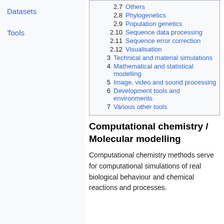Datasets
Tools
2.7  Others
2.8  Phylogenetics
2.9  Population genetics
2.10  Sequence data processing
2.11  Sequence error correction
2.12  Visualisation
3  Technical and material simulations
4  Mathematical and statistical modelling
5  Image, video and sound processing
6  Development tools and environments
7  Various other tools
Computational chemistry / Molecular modelling
Computational chemistry methods serve for computational simulations of real biological behaviour and chemical reactions and processes.